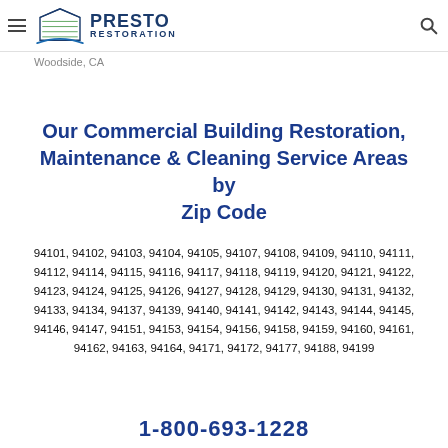Presto Restoration — navigation header with logo, hamburger menu, and search icon
Woodside, CA
Our Commercial Building Restoration, Maintenance & Cleaning Service Areas by Zip Code
94101, 94102, 94103, 94104, 94105, 94107, 94108, 94109, 94110, 94111, 94112, 94114, 94115, 94116, 94117, 94118, 94119, 94120, 94121, 94122, 94123, 94124, 94125, 94126, 94127, 94128, 94129, 94130, 94131, 94132, 94133, 94134, 94137, 94139, 94140, 94141, 94142, 94143, 94144, 94145, 94146, 94147, 94151, 94153, 94154, 94156, 94158, 94159, 94160, 94161, 94162, 94163, 94164, 94171, 94172, 94177, 94188, 94199
1-800-693-1228